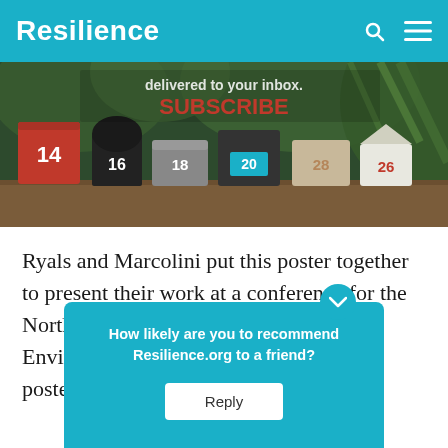Resilience
[Figure (photo): Banner advertisement showing colorful mailboxes numbered 14, 16, 18, 20, 28, 26 with text 'delivered to your inbox. SUBSCRIBE']
Ryals and Marcolini put this poster together to present their work at a conference for the North American Association for Environmental Education (NAA… The poster… lking Audits…
[Figure (screenshot): Teal popup widget asking 'How likely are you to recommend Resilience.org to a friend?' with a Reply button]